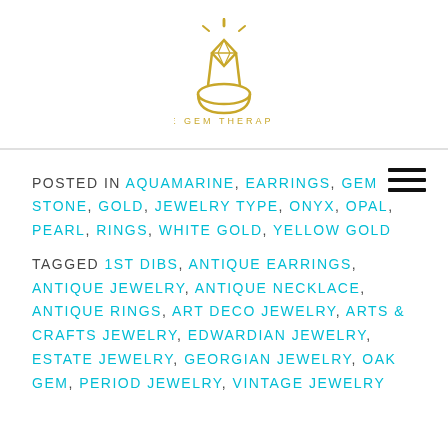[Figure (logo): The Gem Therapist logo: a diamond ring with sparkle lines above, drawn in gold outline style, with the text THE GEM THERAPIST below in gold spaced capitals]
POSTED IN AQUAMARINE, EARRINGS, GEM STONE, GOLD, JEWELRY TYPE, ONYX, OPAL, PEARL, RINGS, WHITE GOLD, YELLOW GOLD
TAGGED 1ST DIBS, ANTIQUE EARRINGS, ANTIQUE JEWELRY, ANTIQUE NECKLACE, ANTIQUE RINGS, ART DECO JEWELRY, ARTS & CRAFTS JEWELRY, EDWARDIAN JEWELRY, ESTATE JEWELRY, GEORGIAN JEWELRY, OAK GEM, PERIOD JEWELRY, VINTAGE JEWELRY